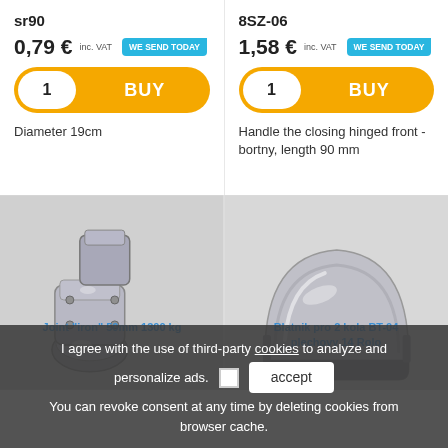sr90
0,79 € inc. VAT
WE SEND TODAY
1
BUY
Diameter 19cm
8SZ-06
1,58 € inc. VAT
WE SEND TODAY
1
BUY
Handle the closing hinged front - bortny, length 90 mm
[Figure (photo): Chrome metal trailer coupling / hitch lock mechanism]
[Figure (photo): Chrome/silver metal fender mudguard for 2 wheels]
Joint "iron" 50mm 1300 kg
Blatnik pro 2 kola BT-04 plechovy 14 Rolo
I agree with the use of third-party cookies to analyze and personalize ads. You can revoke consent at any time by deleting cookies from browser cache.
accept